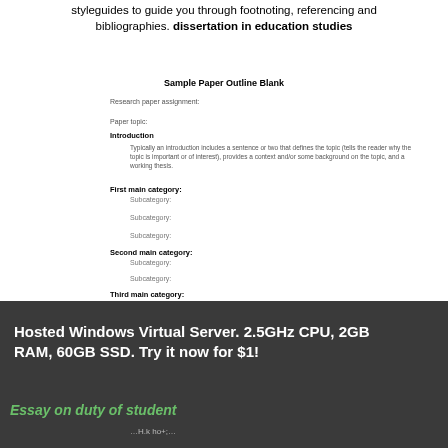styleguides to guide you through footnoting, referencing and bibliographies. dissertation in education studies
Sample Paper Outline Blank
Research paper assignment:
Paper topic:
Introduction
Typically an introduction includes a sentence or two that defines the topic (tells the reader why the topic is important or of interest), provides a context and/or some background on the topic, and a working thesis.
First main category:
Subcategory:
Subcategory:
Subcategory:
Second main category:
Subcategory:
Subcategory:
Third main category:
Subcategory:
Subcategory:
Conclusion
Restate the thesis, but restate it in a way that acknowledges or includes the argument/points you make throughout your paper. A good conclusion should represent your topic in such a way that
Hosted Windows Virtual Server. 2.5GHz CPU, 2GB RAM, 60GB SSD. Try it now for $1!
Essay on duty of student